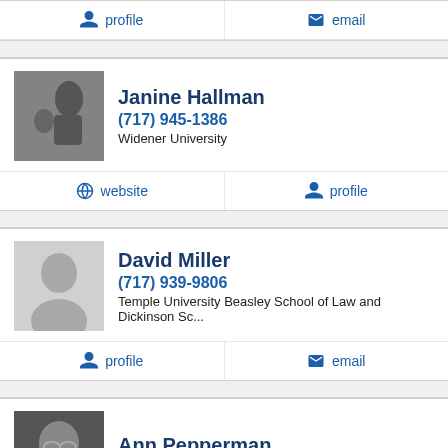profile  email
Janine Hallman
(717) 945-1386
Widener University
website  profile
David Miller
(717) 939-9806
Temple University Beasley School of Law and Dickinson Sc...
profile  email
Ann Pepperman
(570) 326-5131